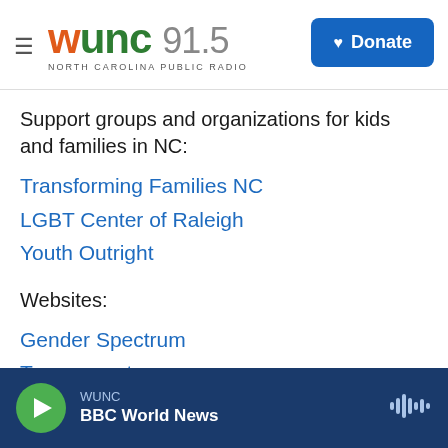WUNC 91.5 North Carolina Public Radio | Donate
Support groups and organizations for kids and families in NC:
Transforming Families NC
LGBT Center of Raleigh
Youth Outright
Websites:
Gender Spectrum
Transparentusa.org
Inside Out 180
Book: "It Feels Good to be Yourself" by Theresa Thorn
WUNC BBC World News